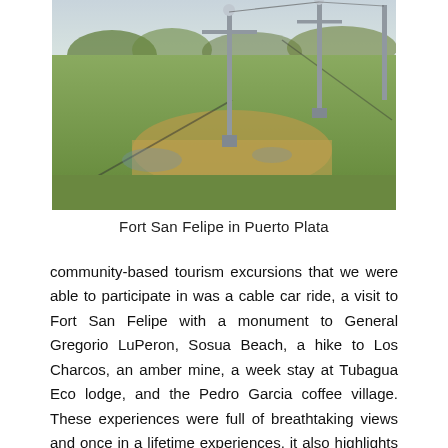[Figure (photo): Outdoor photo of Fort San Felipe in Puerto Plata showing a grassy area with metal poles/flagpoles and sandy ground, viewed from ground level]
Fort San Felipe in Puerto Plata
community-based tourism excursions that we were able to participate in was a cable car ride, a visit to Fort San Felipe with a monument to General Gregorio LuPeron, Sosua Beach, a hike to Los Charcos, an amber mine, a week stay at Tubagua Eco lodge, and the Pedro Garcia coffee village. These experiences were full of breathtaking views and once in a lifetime experiences, it also highlights many of what Puerto Plata has to offer to tourists. These experiences relate to the principles of community economic development because of the use of locally produced goods such as food products or